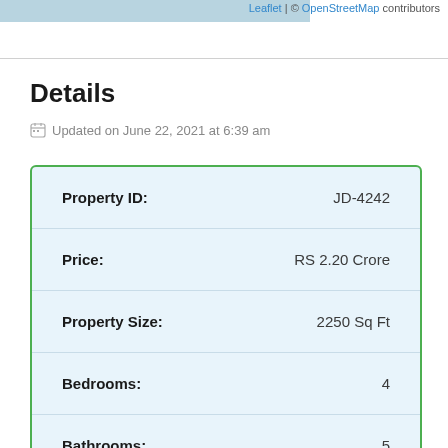Leaflet | © OpenStreetMap contributors
Details
Updated on June 22, 2021 at 6:39 am
| Field | Value |
| --- | --- |
| Property ID: | JD-4242 |
| Price: | RS 2.20 Crore |
| Property Size: | 2250 Sq Ft |
| Bedrooms: | 4 |
| Bathrooms: | 5 |